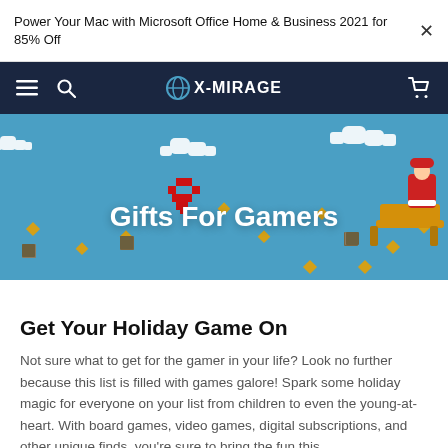Power Your Mac with Microsoft Office Home & Business 2021 for 85% Off
X-MIRAGE navigation bar
[Figure (illustration): Holiday-themed banner with pixel art style. Blue sky background with clouds, pixel diamonds, brown blocks, a red heart, a red sleigh with Santa, and the text 'Gifts For Gamers' in white bold font.]
Get Your Holiday Game On
Not sure what to get for the gamer in your life? Look no further because this list is filled with games galore! Spark some holiday magic for everyone on your list from children to even the young-at-heart. With board games, video games, digital subscriptions, and other unique finds, you're sure to bring the fun this...